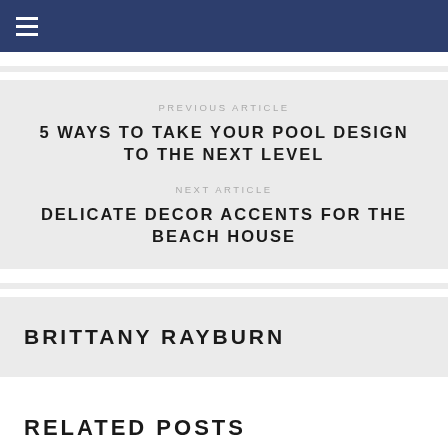≡
PREVIOUS ARTICLE
5 WAYS TO TAKE YOUR POOL DESIGN TO THE NEXT LEVEL
NEXT ARTICLE
DELICATE DECOR ACCENTS FOR THE BEACH HOUSE
BRITTANY RAYBURN
RELATED POSTS